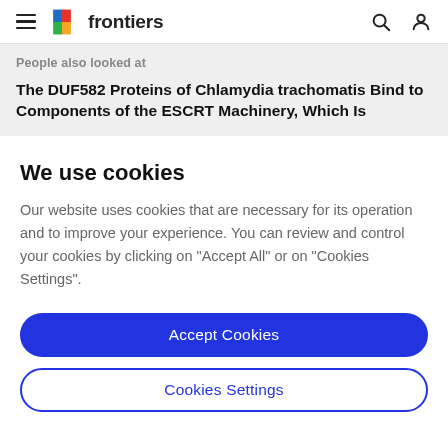frontiers
People also looked at
The DUF582 Proteins of Chlamydia trachomatis Bind to Components of the ESCRT Machinery, Which Is
We use cookies
Our website uses cookies that are necessary for its operation and to improve your experience. You can review and control your cookies by clicking on "Accept All" or on "Cookies Settings".
Accept Cookies
Cookies Settings